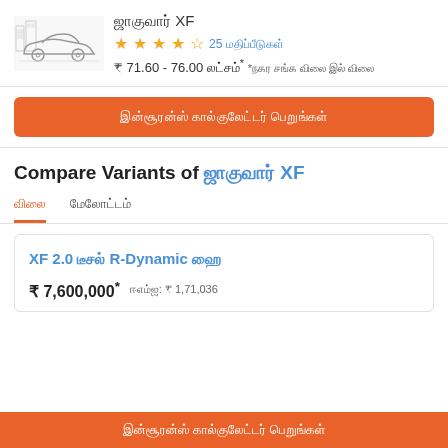[Figure (illustration): Line drawing of a sedan car (Jaguar XF) facing left]
ஜாகுவார் XF
★★★★½ 25 மதிப்பீடுகள்
₹ 71.60 - 76.00 லட்சம்* *நகர சங்க விலை இல் விலை
இன்சூரன்ஸ் கால்குலேட்டர் பெறுங்கள்
Compare Variants of ஜாகுவார் XF
விலை   மேலோட்டம்
XF 2.0 டீசல் R-Dynamic ஹை
₹ 7,600,000* ஈஎம்ஐ: ₹ 1,71,036
இன்சூரன்ஸ் கால்குலேட்டர் பெறுங்கள்